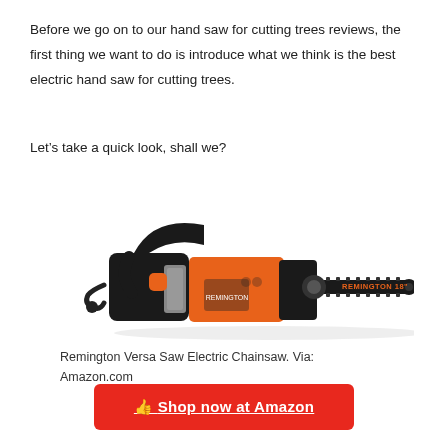Before we go on to our hand saw for cutting trees reviews, the first thing we want to do is introduce what we think is the best electric hand saw for cutting trees.
Let’s take a quick look, shall we?
[Figure (photo): Photo of a Remington 18" electric chainsaw in black and orange, oriented horizontally with the bar extending to the right.]
Remington Versa Saw Electric Chainsaw. Via: Amazon.com
👍 Shop now at Amazon